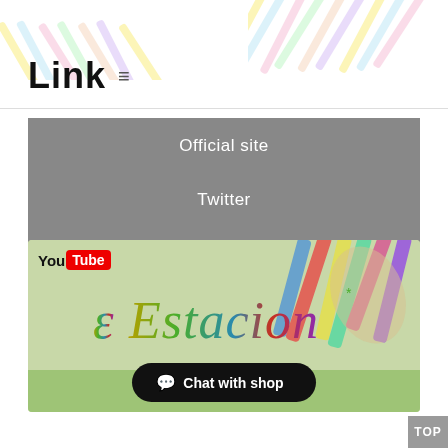Link  ☰
Official site
Twitter
Instagram
[Figure (illustration): YouTube Estacion banner with colorful script logo and party decorations background, grass foreground]
Chat with shop
TOP